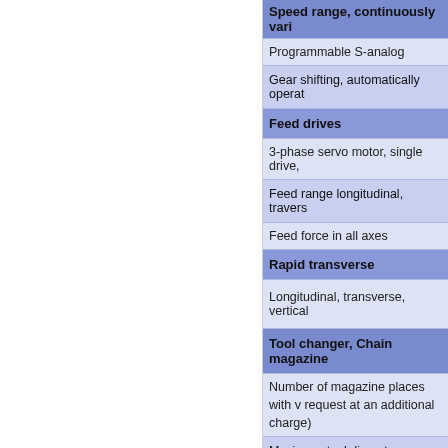| Speed range, continuously vari… |
| Programmable S-analog |
| Gear shifting, automatically operat… |
| Feed drives |
| 3-phase servo motor, single drive,… |
| Feed range longitudinal, travers… |
| Feed force in all axes |
| Rapid transverse |
| Longitudinal, transverse, vertical |
| Tool changer, Chain magazine |
| Number of magazine places with w… request at an additional charge) |
| Maximum tool diameter |
| Maximum tool weight |
| Maximum tool length |
| Throat/option with machines wi… |
| Horizontal/vertical milling head (H… to leading |